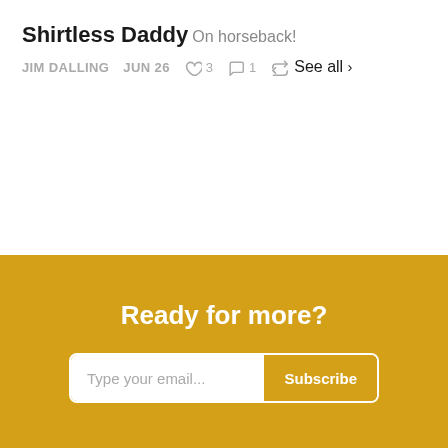Shirtless Daddy
On horseback!
JIM DALLING   JUN 26   ♡ 3   ○ 1   ↪
See all ›
Ready for more?
Type your email...   Subscribe